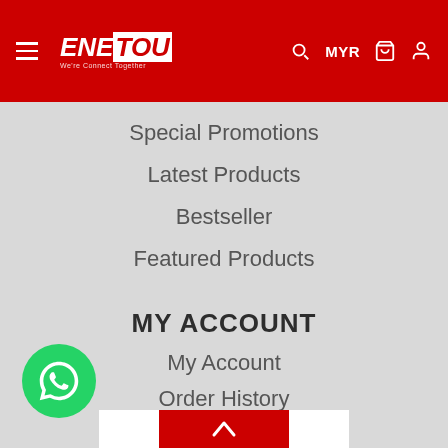ENETOU — MYR — navigation header with hamburger menu, search, cart, user icons
Special Promotions
Latest Products
Bestseller
Featured Products
MY ACCOUNT
My Account
Order History
Receipt Upload
Wish List
NEWSLETTER
Email Address
[Figure (logo): WhatsApp floating button (green circle with WhatsApp icon)]
[Figure (other): Scroll-to-top bar with red center and white sides, chevron up arrow]